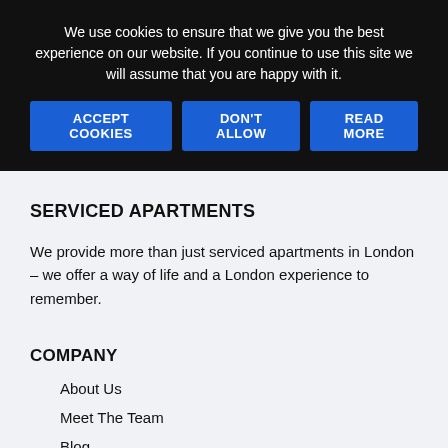We use cookies to ensure that we give you the best experience on our website. If you continue to use this site we will assume that you are happy with it.
ACCEPT COOKIES
DON'T ALLOW
READ MORE
SERVICED APARTMENTS
We provide more than just serviced apartments in London – we offer a way of life and a London experience to remember.
COMPANY
About Us
Meet The Team
Blog